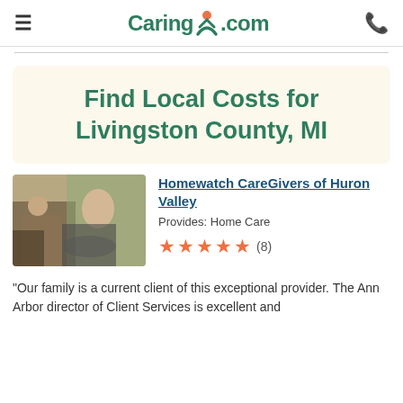Caring.com
Find Local Costs for Livingston County, MI
[Figure (photo): Photo of a caregiver helping a woman in a wheelchair outdoors]
Homewatch CareGivers of Huron Valley
Provides: Home Care
★★★★★ (8)
"Our family is a current client of this exceptional provider. The Ann Arbor director of Client Services is excellent and